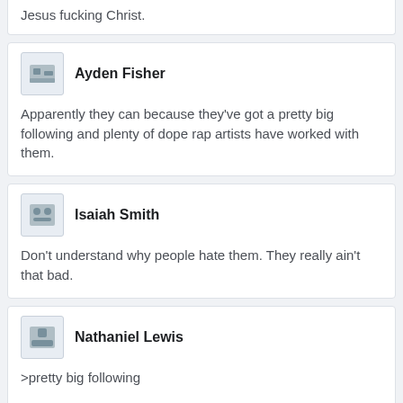Jesus fucking Christ.
Ayden Fisher
Apparently they can because they've got a pretty big following and plenty of dope rap artists have worked with them.
Isaiah Smith
Don't understand why people hate them. They really ain't that bad.
Nathaniel Lewis
>pretty big following

yeah,of idiots from the suburbs who are white

maybe if you wernt a dumb teenage kid your opinion would matter